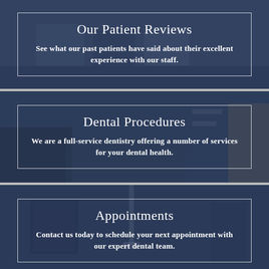[Figure (photo): Dental office waiting room with chairs, dark navy blue overlay, containing bordered text box]
Our Patient Reviews
See what our past patients have said about their excellent experience with our staff.
[Figure (photo): Dental office interior with desk/reception area, dark navy blue overlay, containing bordered text box]
Dental Procedures
We are a full-service dentistry offering a number of services for your dental health.
[Figure (photo): Dental treatment room with equipment, dark navy blue overlay, containing bordered text box]
Appointments
Contact us today to schedule your next appointment with our expert dental team.